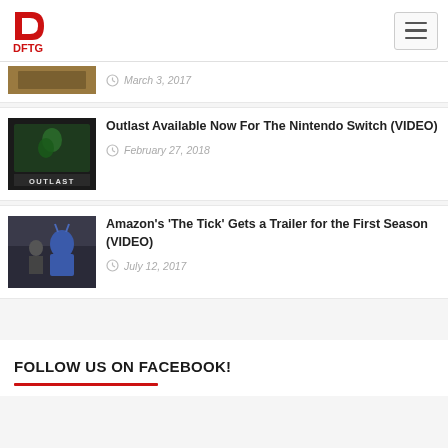DFTG logo and navigation
March 3, 2017
Outlast Available Now For The Nintendo Switch (VIDEO)
February 27, 2018
Amazon's 'The Tick' Gets a Trailer for the First Season (VIDEO)
July 12, 2017
FOLLOW US ON FACEBOOK!